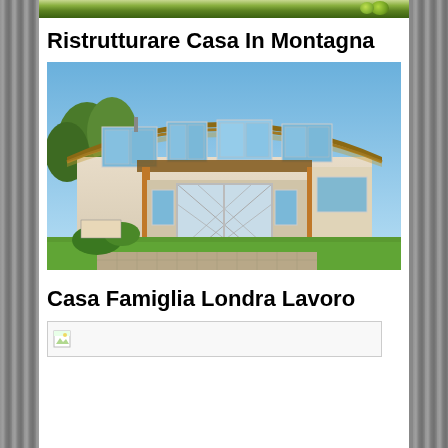[Figure (photo): Partial top strip of a photo showing green foliage/trees against a bright background]
Ristrutturare Casa In Montagna
[Figure (photo): Modern two-storey house with curved wooden roof, large windows, white walls, glass entrance doors with diamond pattern, green lawn, and paved driveway]
Casa Famiglia Londra Lavoro
[Figure (photo): Broken/missing image placeholder with small icon in top-left corner]